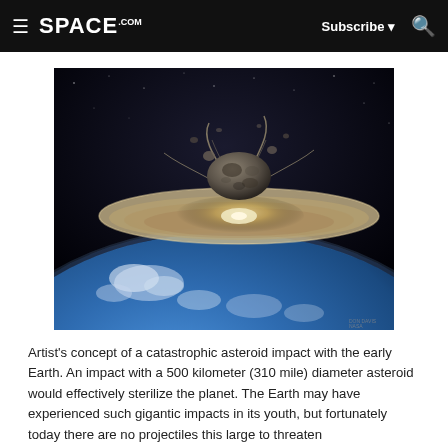SPACE.com | Subscribe | Search
[Figure (illustration): Artist's concept of a catastrophic asteroid impact with the early Earth. A large rocky asteroid is shown striking Earth's surface, sending a massive shockwave and debris cloud outward, with Earth's curved surface and atmosphere visible below.]
Artist's concept of a catastrophic asteroid impact with the early Earth. An impact with a 500 kilometer (310 mile) diameter asteroid would effectively sterilize the planet. The Earth may have experienced such gigantic impacts in its youth, but fortunately today there are no projectiles this large to threaten